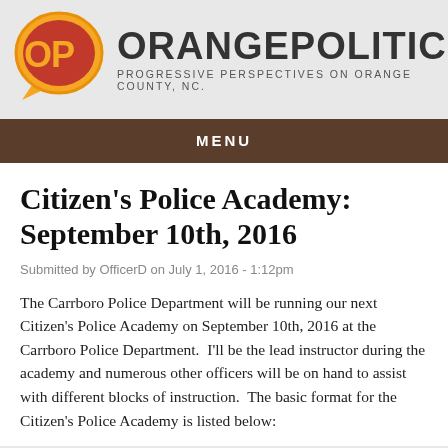[Figure (logo): OrangePolitics website logo: circular badge with 'OP' letters in orange and red on golden/orange speech bubble background, next to bold text 'ORANGEPOLITICS' with subtitle 'PROGRESSIVE PERSPECTIVES ON ORANGE COUNTY, NC.']
MENU
Citizen's Police Academy: September 10th, 2016
Submitted by OfficerD on July 1, 2016 - 1:12pm
The Carrboro Police Department will be running our next Citizen's Police Academy on September 10th, 2016 at the Carrboro Police Department.  I'll be the lead instructor during the academy and numerous other officers will be on hand to assist with different blocks of instruction.  The basic format for the Citizen's Police Academy is listed below: